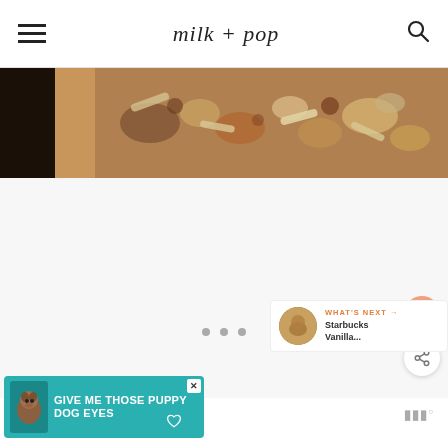milk + pop
[Figure (photo): Close-up photo of granola or trail mix with nuts and dried fruits on a surface]
ADVERTISEMENT
[Figure (infographic): Advertisement banner reading GIVE ME THOSE PUPPY DOG EYES with a dog image]
WHAT'S NEXT → Starbucks Vanilla...